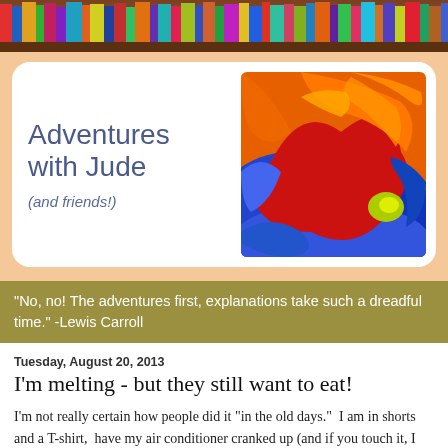[Figure (photo): Bookshelf header with colorful book spines on a wooden shelf]
[Figure (illustration): Blog logo box with 'Adventures with Jude (and friends!)' text on the left and colorful abstract painting on the right, inside a white rounded rectangle on a peach background]
“No, no! The adventures first, explanations take such a dreadful time.” -Lewis Carroll
Tuesday, August 20, 2013
I’m melting - but they still want to eat!
I’m not really certain how people did it "in the old days."  I am in shorts and a T-shirt,  have my air conditioner cranked up (and if you touch it, I will smack your hand), and I’m still melting.  How